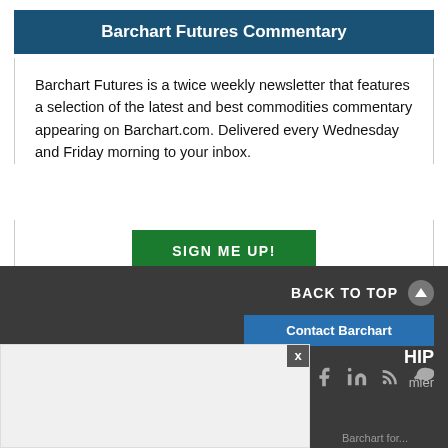Barchart Futures Commentary
Barchart Futures is a twice weekly newsletter that features a selection of the latest and best commodities commentary appearing on Barchart.com. Delivered every Wednesday and Friday morning to your inbox.
SIGN ME UP!
BACK TO TOP
Contact Barchart
[Figure (screenshot): Social media icons row: Twitter, YouTube, Reddit, Facebook, LinkedIn, RSS, Fire/StockTwits]
[Figure (screenshot): Partially visible advertisement overlay with close button (x), partial text 'HIP', 'mier', 'Barchart for']